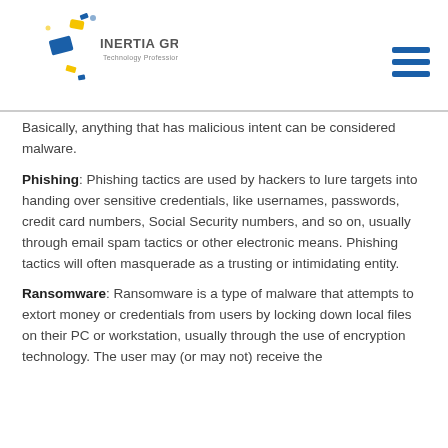[Figure (logo): Inertia Group, Inc. Technology Professionals logo with colorful geometric shapes]
Basically, anything that has malicious intent can be considered malware.
Phishing: Phishing tactics are used by hackers to lure targets into handing over sensitive credentials, like usernames, passwords, credit card numbers, Social Security numbers, and so on, usually through email spam tactics or other electronic means. Phishing tactics will often masquerade as a trusting or intimidating entity.
Ransomware: Ransomware is a type of malware that attempts to extort money or credentials from users by locking down local files on their PC or workstation, usually through the use of encryption technology. The user may (or may not) receive the